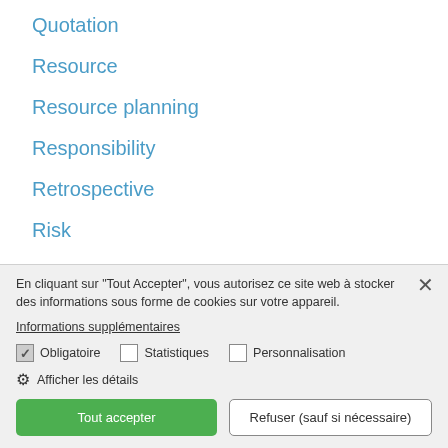Quotation
Resource
Resource planning
Responsibility
Retrospective
Risk
En cliquant sur "Tout Accepter", vous autorisez ce site web à stocker des informations sous forme de cookies sur votre appareil.
Informations supplémentaires
Obligatoire   Statistiques   Personnalisation
Afficher les détails
Tout accepter
Refuser (sauf si nécessaire)